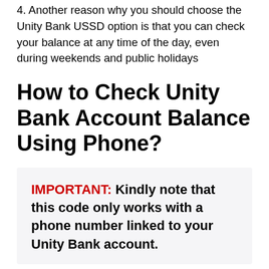4. Another reason why you should choose the Unity Bank USSD option is that you can check your balance at any time of the day, even during weekends and public holidays
How to Check Unity Bank Account Balance Using Phone?
IMPORTANT: Kindly note that this code only works with a phone number linked to your Unity Bank account.